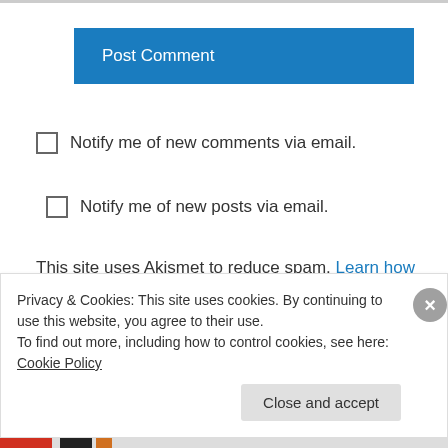[Figure (other): Post Comment button — a blue rectangular button with white text reading 'Post Comment']
Notify me of new comments via email.
Notify me of new posts via email.
This site uses Akismet to reduce spam. Learn how your comment data is processed.
kungfumom on July 19, 2010 at 2:42 pm
Privacy & Cookies: This site uses cookies. By continuing to use this website, you agree to their use.
To find out more, including how to control cookies, see here: Cookie Policy